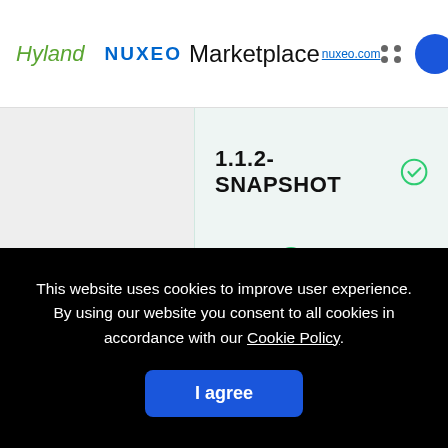Hyland | nuxeo Marketplace nuxeo.com
1.1.2-SNAPSHOT ✓
1.1.1 ✓
This website uses cookies to improve user experience. By using our website you consent to all cookies in accordance with our Cookie Policy.
I agree